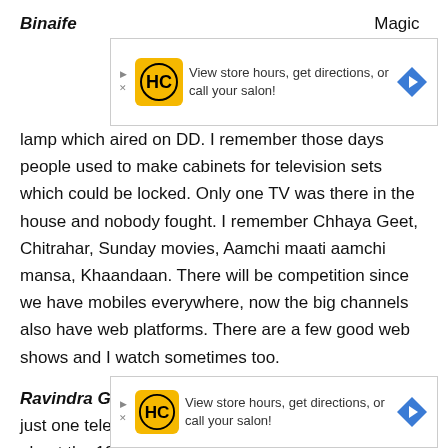[Figure (other): Advertisement banner: HC salon logo with text 'View store hours, get directions, or call your salon!' and a blue diamond arrow icon]
Binaife... Magic lamp which aired on DD. I remember those days people used to make cabinets for television sets which could be locked. Only one TV was there in the house and nobody fought. I remember Chhaya Geet, Chitrahar, Sunday movies, Aamchi maati aamchi mansa, Khaandaan. There will be competition since we have mobiles everywhere, now the big channels also have web platforms. There are a few good web shows and I watch sometimes too.
Ravindra Gautam: During our days there used be just one television set in the whole colony. I am talking about the 1970's early 80's. I had a second television set in the colony earlier... Sunday... we
[Figure (other): Advertisement banner: HC salon logo with text 'View store hours, get directions, or call your salon!' and a blue diamond arrow icon]